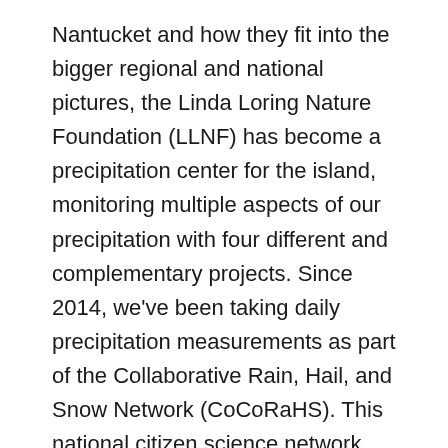Nantucket and how they fit into the bigger regional and national pictures, the Linda Loring Nature Foundation (LLNF) has become a precipitation center for the island, monitoring multiple aspects of our precipitation with four different and complementary projects. Since 2014, we've been taking daily precipitation measurements as part of the Collaborative Rain, Hail, and Snow Network (CoCoRaHS). This national citizen science network was started by the Colorado Climate Center at Colorado State University in 1998. The strength of this data set lies with hundreds of monitors collecting data with the same exact rain gauge using the same set of standard protocols in all 50 states. The data collected is then publically available for anyone to use via their interactive website. Aside from curious citizens, the data are used by the National Weather